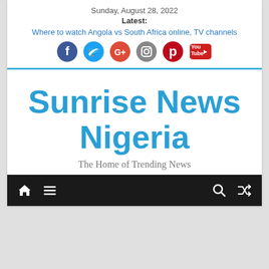Sunday, August 28, 2022
Latest:
Where to watch Angola vs South Africa online, TV channels
[Figure (infographic): Social media icons: Facebook, Twitter, Google+, Instagram, Pinterest, YouTube]
Sunrise News Nigeria
The Home of Trending News
[Figure (infographic): Navigation bar with home icon, hamburger menu icon, search icon, and shuffle/random icon on dark background]